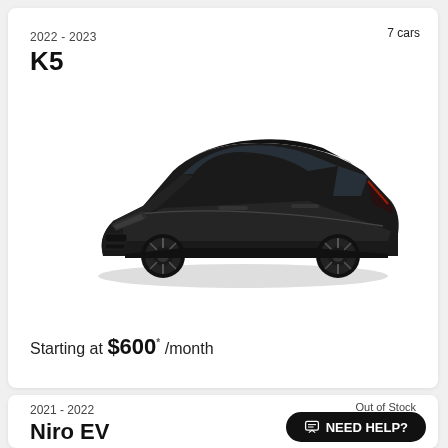7 cars
2022-2023
K5
[Figure (photo): Black Kia K5 sedan shown from a front three-quarter angle against a white background]
Starting at $600* /month
2021-2022
Niro EV
Out of Stock
NEED HELP?